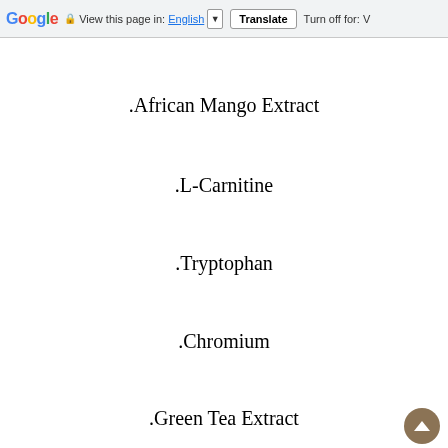Google  View this page in: English ▼  Translate  Turn off for: V
.African Mango Extract
.L-Carnitine
.Tryptophan
.Chromium
.Green Tea Extract